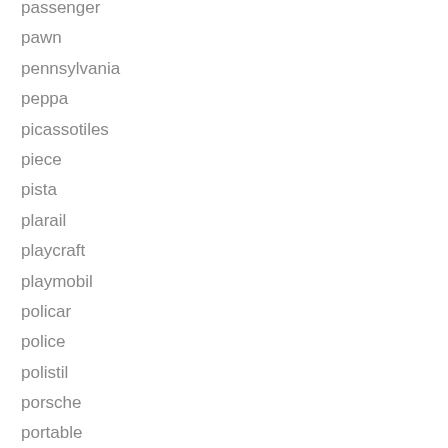passenger
pawn
pennsylvania
peppa
picassotiles
piece
pista
plarail
playcraft
playmobil
policar
police
polistil
porsche
portable
postwar
pull
quality
...